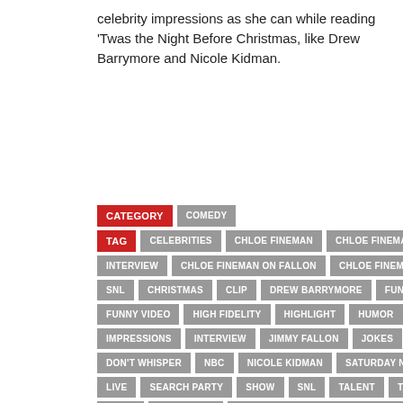celebrity impressions as she can while reading 'Twas the Night Before Christmas, like Drew Barrymore and Nicole Kidman.
CATEGORY  COMEDY
TAG  CELEBRITIES  CHLOE FINEMAN  CHLOE FINEMAN INTERVIEW  CHLOE FINEMAN ON FALLON  CHLOE FINEMAN SNL  CHRISTMAS  CLIP  DREW BARRYMORE  FUNNY  FUNNY VIDEO  HIGH FIDELITY  HIGHLIGHT  HUMOR  IMPRESSIONS  INTERVIEW  JIMMY FALLON  JOKES  MEN DON'T WHISPER  NBC  NICOLE KIDMAN  SATURDAY NIGHT LIVE  SEARCH PARTY  SHOW  SNL  TALENT  TALK SHOW  TELEVISION  THE ADVENTURES OF BEN & SARAH  THE ADVENTURES OF BEN AND SARAH  TIMOTHEE CHALAMET  TONIGHT  TONIGHT SHOW  TWAS THE NIGHT BEFORE CHRISTMAS  VIDEO